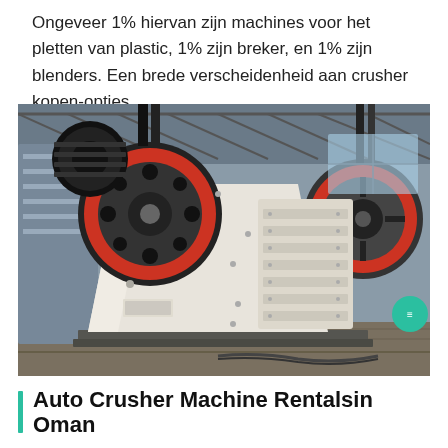Ongeveer 1% hiervan zijn machines voor het pletten van plastic, 1% zijn breker, en 1% zijn blenders. Een brede verscheidenheid aan crusher kopen-opties...
[Figure (photo): Industrial jaw crusher machine in a factory/warehouse setting. The machine is large, cream/white colored with red and black flywheel pulleys. It has a ribbed frame structure on the right side. The machine sits on a metal base plate on a factory floor.]
Auto Crusher Machine Rentalsin Oman